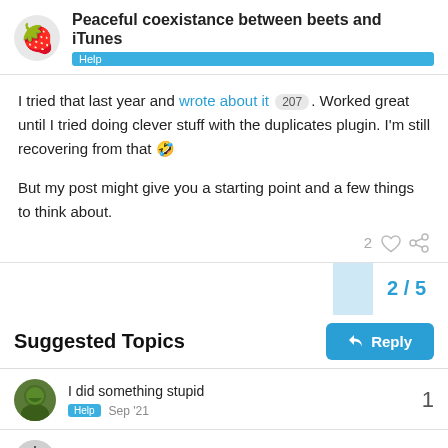Peaceful coexistance between beets and iTunes — Help
I tried that last year and wrote about it 207 . Worked great until I tried doing clever stuff with the duplicates plugin. I'm still recovering from that 🤣
But my post might give you a starting point and a few things to think about.
2 / 5
Reply
Suggested Topics
I did something stupid — Help — Sep '21 — 1
✅ What is the proper way to retag an — 3